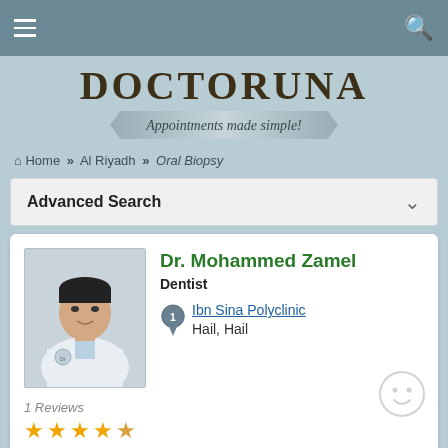[Figure (logo): DoctorUna logo with tagline 'Appointments made simple!']
Home » Al Riyadh » Oral Biopsy
Advanced Search
[Figure (photo): Photo of Dr. Mohammed Zamel, a male dentist in white coat]
Dr. Mohammed Zamel
Dentist
Ibn Sina Polyclinic
Hail, Hail
1 Reviews
★★★★☆